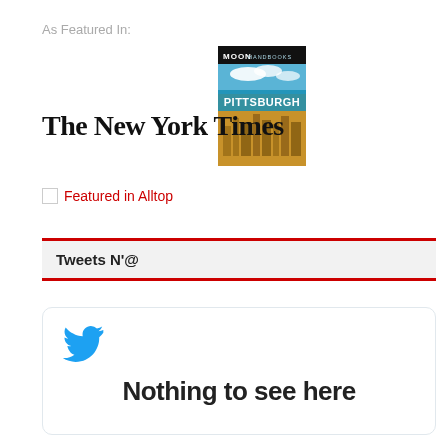As Featured In:
[Figure (illustration): Moon Handbooks Pittsburgh book cover with blue sky and city skyline]
[Figure (logo): The New York Times logo in blackletter font]
[Figure (logo): Featured in Alltop badge with broken image icon and red text]
Tweets N'@
[Figure (screenshot): Twitter widget card showing blue Twitter bird icon and partial text 'Nothing to see here']